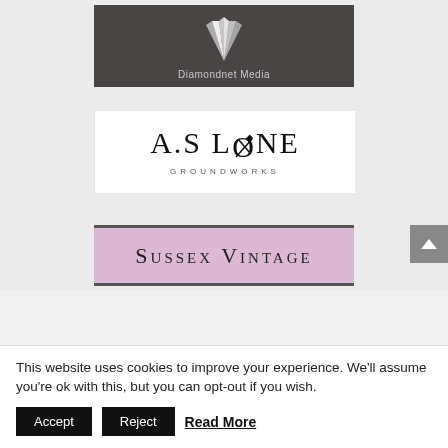[Figure (logo): Diamondnet Media logo — dark gray background with white angular diamond/fan shape and text 'Diamondnet Media' below]
[Figure (logo): A.S Lane Groundworks logo — white background with large serif text 'A.S LANE' (O replaced by crossed tools icon) and 'GROUNDWORKS' in spaced caps below]
[Figure (logo): Sussex Vintage logo — pink/mauve background with dark border and 'Sussex Vintage' text in small-caps serif font (partially visible)]
This website uses cookies to improve your experience. We'll assume you're ok with this, but you can opt-out if you wish.
Accept   Reject   Read More